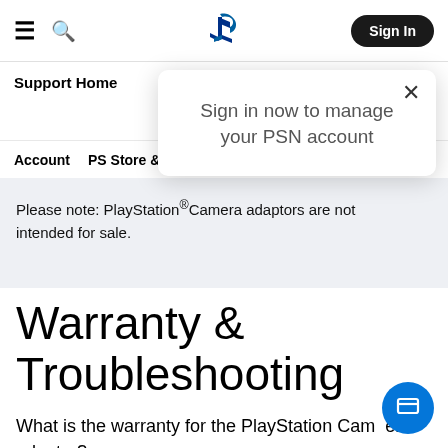PlayStation Support — navigation bar with hamburger, search, PlayStation logo, Sign In button
Sign in now to manage your PSN account
Support Home
Account   PS Store & Refunds   Subscriptions   Hardw...
Please note: PlayStation®Camera adaptors are not intended for sale.
Warranty & Troubleshooting
What is the warranty for the PlayStation Camera adaptor?